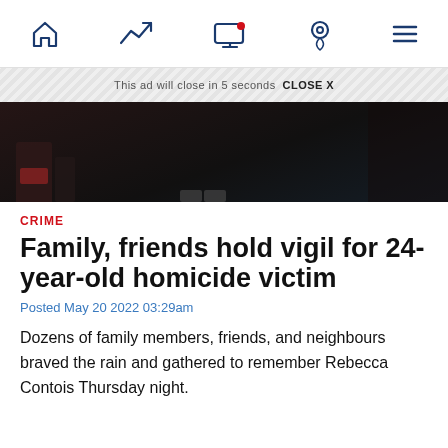Navigation bar with home, trending, video, location, and menu icons
[Figure (screenshot): Ad banner with diagonal stripe pattern and 'This ad will close in 5 seconds CLOSE X' text, followed by a dark video thumbnail showing objects on a dark floor]
CRIME
Family, friends hold vigil for 24-year-old homicide victim
Posted May 20 2022 03:29am
Dozens of family members, friends, and neighbours braved the rain and gathered to remember Rebecca Contois Thursday night.